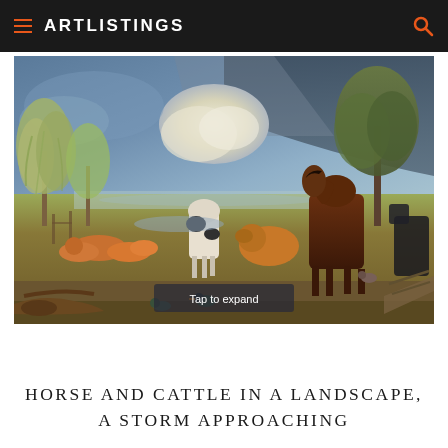ARTLISTINGS
[Figure (illustration): Oil painting depicting a pastoral landscape scene with horses and cattle gathered together as a storm approaches. Several cows (black and white, and brown/orange) lie and stand in the foreground and middle ground. A large brown horse stands prominently on the right. Silvery-green willow trees are on the left. A large oak tree is on the right. The sky shows dramatic stormy clouds including a large white cumulus cloud and dark storm clouds. Ducks and other birds are in the foreground near fallen logs. A semi-transparent overlay reads 'Tap to expand'.]
HORSE AND CATTLE IN A LANDSCAPE, A STORM APPROACHING